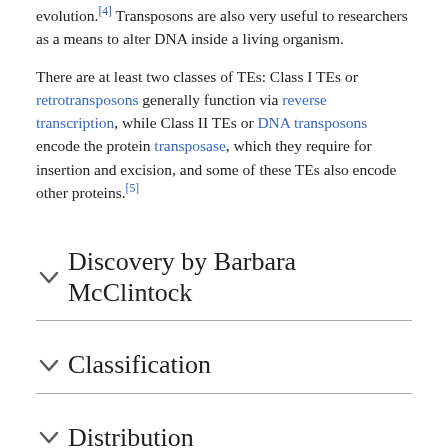evolution.[4] Transposons are also very useful to researchers as a means to alter DNA inside a living organism.
There are at least two classes of TEs: Class I TEs or retrotransposons generally function via reverse transcription, while Class II TEs or DNA transposons encode the protein transposase, which they require for insertion and excision, and some of these TEs also encode other proteins.[5]
Discovery by Barbara McClintock
Classification
Distribution